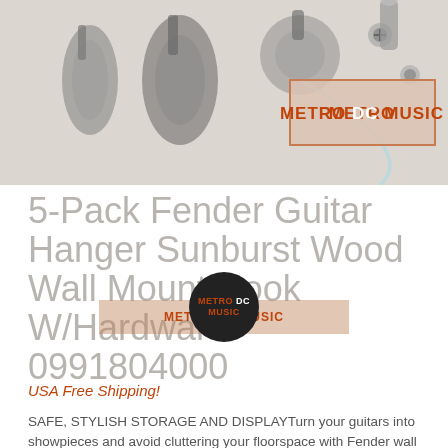[Figure (photo): Product photo showing guitar wall hangers/hooks hardware on a light background, with Metro DC Music logo in upper right]
5-Pack Fender Guitar Hanger Sunburst Wood Wall Mount Hook W/Hardware 0991804000
USA Free Shipping!
SAFE, STYLISH STORAGE AND DISPLAYTurn your guitars into showpieces and avoid cluttering your floorspace with Fender wall hangers. The Fender Wall Hanger is crafted from quality long-lasting materials. FEATURES -...